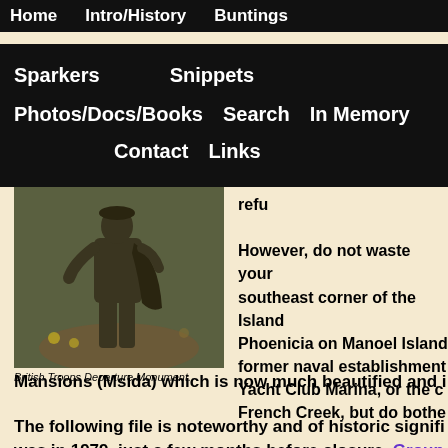Home   Intro/History   Buntings
Sparkers   Snippets
Photos/Docs/Books   Search   In Memory
Contact   Links
[Figure (photo): Bronze statue of British Troops Departure Monument, sited at Birgu]
British Troops Departure Monument.
s now 25 y ... original infrastructure ... d condition, or is ... whose intentions are to refu...
However, do not waste your southeast corner of the Island Phoenicia on Manoel Island former naval establishment Yacht Club Marina, or the c French Creek, but do bothe
Mansions (Msida) which is now much beautified and i
The following file is noteworthy and of historic signifi... was in 1979, just a few months before closure. Group